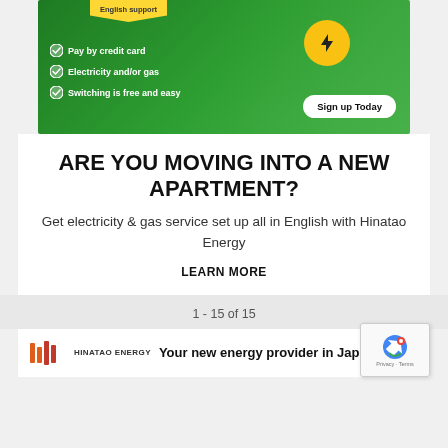[Figure (infographic): Green advertisement banner for Hinatao Energy showing two people on a laptop, with checkmarks listing 'Pay by credit card', 'Electricity and/or gas', 'Switching is free and easy', an 'English support' badge, and a 'Sign up Today' button]
ARE YOU MOVING INTO A NEW APARTMENT?
Get electricity & gas service set up all in English with Hinatao Energy
LEARN MORE
1 - 15 of 15
[Figure (logo): Hinatao Energy logo with orange and red vertical bar segments and text 'HINATAO ENERGY']
Your new energy provider in Jap...